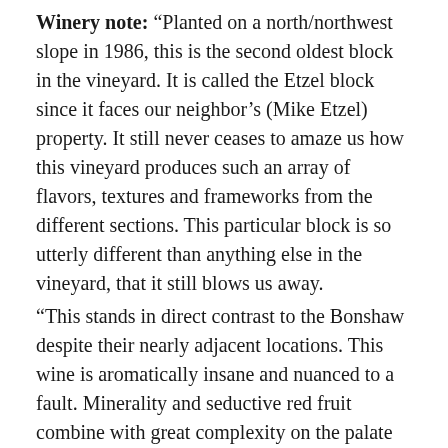Winery note: “Planted on a north/northwest slope in 1986, this is the second oldest block in the vineyard. It is called the Etzel block since it faces our neighbor’s (Mike Etzel) property. It still never ceases to amaze us how this vineyard produces such an array of flavors, textures and frameworks from the different sections. This particular block is so utterly different than anything else in the vineyard, that it still blows us away. “This stands in direct contrast to the Bonshaw despite their nearly adjacent locations. This wine is aromatically insane and nuanced to a fault. Minerality and seductive red fruit combine with great complexity on the palate to create a wine that shows how elegant, intricate, red-fruited and soil-influenced older vine Pinot Noirs from Ribbon Ridge can be. There is a fairly large degree of whole cluster fermentation here as well which furthers the aromatic qualities, drives the herbal and graphite notes on the palate and tightens the tannins up on the back end. 27% new barrel, 275 cases bottled.”